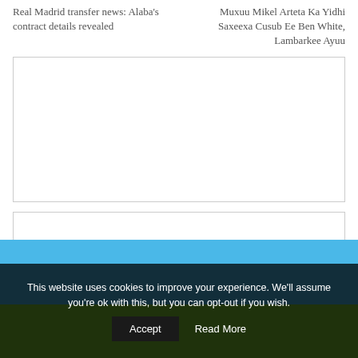Real Madrid transfer news: Alaba's contract details revealed
Muxuu Mikel Arteta Ka Yidhi Saxeexa Cusub Ee Ben White, Lambarkee Ayuu
[Figure (other): Large empty advertisement box with thin gray border]
[Figure (other): Small empty advertisement box with thin gray border]
This website uses cookies to improve your experience. We'll assume you're ok with this, but you can opt-out if you wish.
Accept
Read More